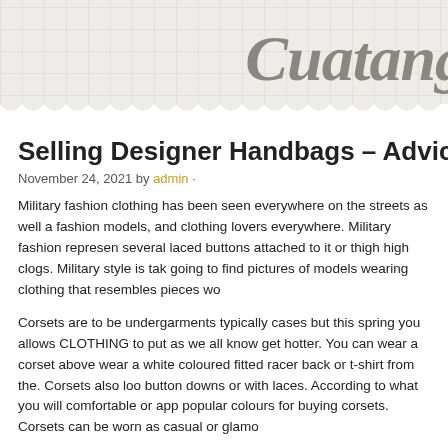Cuatang
Selling Designer Handbags – Advice C
November 24, 2021 by admin ·
Military fashion clothing has been seen everywhere on the streets as well as fashion models, and clothing lovers everywhere. Military fashion represents several laced buttons attached to it or thigh high clogs. Military style is tak going to find pictures of models wearing clothing that resembles pieces wo
Corsets are to be undergarments typically cases but this spring you allows CLOTHING to put as we all know get hotter. You can wear a corset above wear a white coloured fitted racer back or t-shirt from the. Corsets also loo button downs or with laces. According to what you will comfortable or app popular colours for buying corsets. Corsets can be worn as casual or glamo
Number 3 is the RAP4 XPower Military Offer you. This is the XPower to